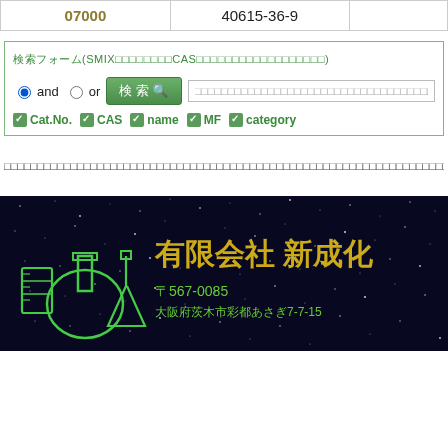| 07000 | 40615-36-9 |  |
検索フォーム(SMIXコード、化合物名、CAS番号など複数条件で検索できます)
and / or 検索 Cat.No. CAS name MF category
構造式検索はこちらから→ Shinsei Chemical Catalog Click! ←構造式検索はこちらから
[Figure (logo): 有限会社 新成化学 company logo banner with dark blue starry background, green lab flask icons, yellow company name text, green address text: 〒567-0085 大阪府茨木市彩都あさぎ7-7-15]